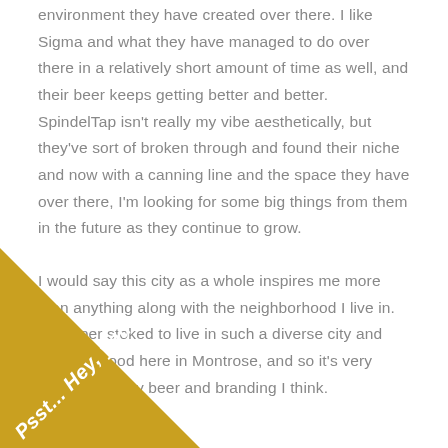environment they have created over there. I like Sigma and what they have managed to do over there in a relatively short amount of time as well, and their beer keeps getting better and better. SpindelTap isn't really my vibe aesthetically, but they've sort of broken through and found their niche and now with a canning line and the space they have over there, I'm looking for some big things from them in the future as they continue to grow.
I would say this city as a whole inspires me more than anything along with the neighborhood I live in. I'm super stoked to live in such a diverse city and neighborhood here in Montrose, and so it's very reflective in my beer and branding I think.
[Figure (illustration): Gold/tan diagonal ribbon banner in the bottom-left corner with italic bold white text reading 'Psst... Hey, you!']